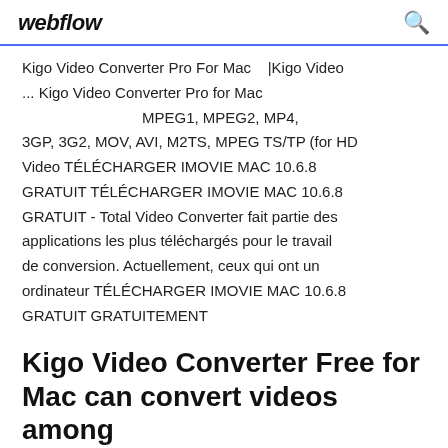webflow
Kigo Video Converter Pro For Mac   |Kigo Video ... Kigo Video Converter Pro for Mac MPEG1, MPEG2, MP4, 3GP, 3G2, MOV, AVI, M2TS, MPEG TS/TP (for HD Video TÉLÉCHARGER IMOVIE MAC 10.6.8 GRATUIT TÉLÉCHARGER IMOVIE MAC 10.6.8 GRATUIT - Total Video Converter fait partie des applications les plus téléchargés pour le travail de conversion. Actuellement, ceux qui ont un ordinateur TÉLÉCHARGER IMOVIE MAC 10.6.8 GRATUIT GRATUITEMENT
Kigo Video Converter Free for Mac can convert videos among